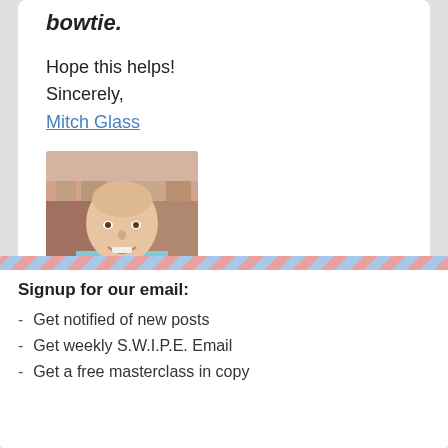bowtie.
Hope this helps!
Sincerely,
Mitch Glass
[Figure (photo): Headshot photo of Mitch Glass, a bald man smiling, wearing a light blue shirt, with a colorful background.]
Signup for our email:
Get notified of new posts
Get weekly S.W.I.P.E. Email
Get a free masterclass in copy